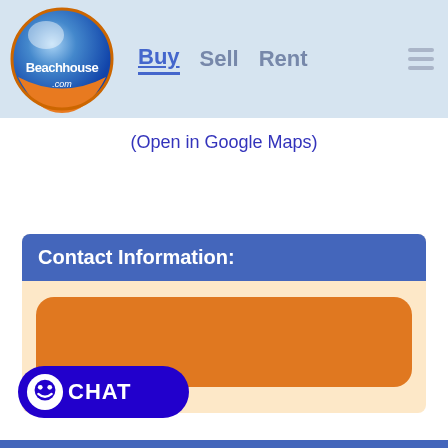[Figure (logo): Beachhouse.com logo with globe and orange/blue branding]
Buy   Sell   Rent
(Open in Google Maps)
Contact Information:
[Figure (other): Orange rounded rectangle button in contact section]
[Figure (other): Blue CHAT button with smiley face icon]